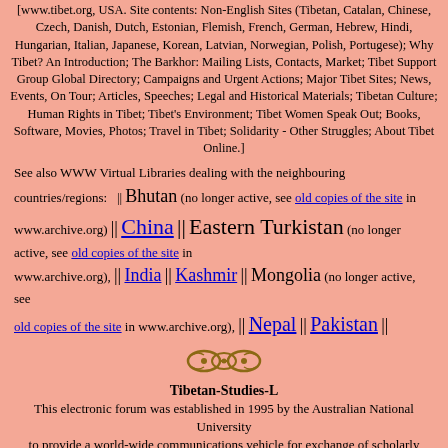[www.tibet.org, USA. Site contents: Non-English Sites (Tibetan, Catalan, Chinese, Czech, Danish, Dutch, Estonian, Flemish, French, German, Hebrew, Hindi, Hungarian, Italian, Japanese, Korean, Latvian, Norwegian, Polish, Portugese); Why Tibet? An Introduction; The Barkhor: Mailing Lists, Contacts, Market; Tibet Support Group Global Directory; Campaigns and Urgent Actions; Major Tibet Sites; News, Events, On Tour; Articles, Speeches; Legal and Historical Materials; Tibetan Culture; Human Rights in Tibet; Tibet's Environment; Tibet Women Speak Out; Books, Software, Movies, Photos; Travel in Tibet; Solidarity - Other Struggles; About Tibet Online.]
See also WWW Virtual Libraries dealing with the neighbouring countries/regions: || Bhutan (no longer active, see old copies of the site in www.archive.org) || China || Eastern Turkistan (no longer active, see old copies of the site in www.archive.org), || India || Kashmir || Mongolia (no longer active, see old copies of the site in www.archive.org), || Nepal || Pakistan ||
[Figure (illustration): Decorative ornament graphic in golden/brown color]
Tibetan-Studies-L
This electronic forum was established in 1995 by the Australian National University to provide a world-wide communications vehicle for exchange of scholarly and factual information dealing with Tibet. The forum was closed down in early May 2008.
[Figure (illustration): Decorative ornament graphic in golden/brown color]
Updates, additions and corrections to these pages have been kindly provided by: